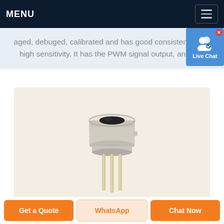MENU
aged, debuged, calibrated and has good consistency and high sensitivity. It has the PWM signal output, and it ...
[Figure (photo): A metallic TO-can style sensor component with a dark circular window on top and three gold-colored pin leads extending downward, photographed on a warm beige background.]
Get a Quote
WhatsApp
Chat Now